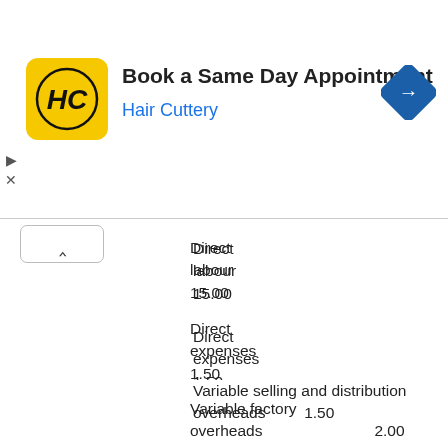[Figure (screenshot): Hair Cuttery advertisement banner with logo, 'Book a Same Day Appointment' heading, and navigation icon]
Direct labour
15.00
Direct expenses
1.50
Variable factory overheads	2.00
Variable selling and distribution overheads	1.50
It is expected that 2,000 units of the new product can be sold at a price of Rs. 60 per unit. The fixed factory overheads are expected to increase by 10%, while fixed selling and distribution overheads will